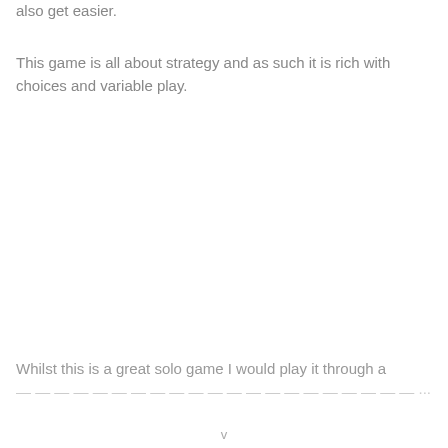also get easier.
This game is all about strategy and as such it is rich with choices and variable play.
Whilst this is a great solo game I would play it through a few solo rounds to effectively learn the mechanisms, but...
v